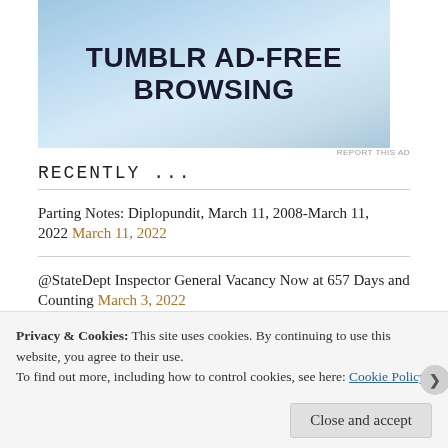[Figure (other): Tumblr Ad-Free Browsing advertisement banner with blue gradient background]
REPORT THIS AD
RECENTLY ...
Parting Notes: Diplopundit, March 11, 2008-March 11, 2022 March 11, 2022
@StateDept Inspector General Vacancy Now at 657 Days and Counting March 3, 2022
@StateDept Issues Guidance For Ukraine Land Border Crossings March 3, 2022
US Embassy Local Employees in the News #Ukraine #Yemen #Belarus March 1, 2022
US Embassy Moscow Now on “Authorized Departure” For
Privacy & Cookies: This site uses cookies. By continuing to use this website, you agree to their use. To find out more, including how to control cookies, see here: Cookie Policy
Close and accept